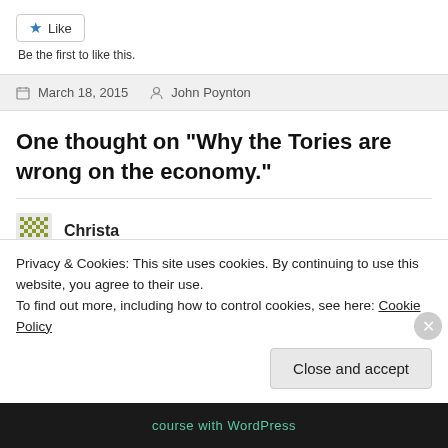[Figure (other): Like button with star icon]
Be the first to like this.
March 18, 2015   John Poynton
One thought on “Why the Tories are wrong on the economy.”
Christa
Privacy & Cookies: This site uses cookies. By continuing to use this website, you agree to their use.
To find out more, including how to control cookies, see here: Cookie Policy
Close and accept
course with WordPress